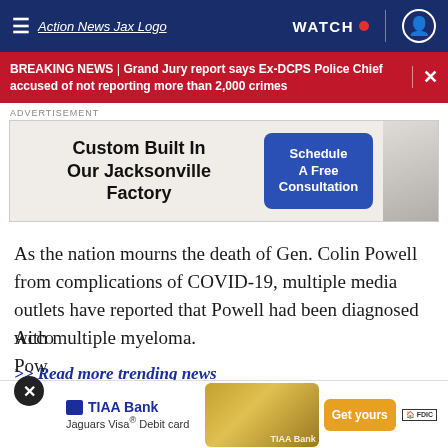≡  Action News Jax Logo  WATCH 🔴  👤
BREAKING NEWS | Grand Jury report says Ex-DCPS Police Chief accused of not reporting more than 2,000 crimes
ADVERTISEMENT
[Figure (other): Advertisement banner: Custom Built In Our Jacksonville Factory | Schedule A Free Consultation (blue button) | photo of kitchen]
As the nation mourns the death of Gen. Colin Powell from complications of COVID-19, multiple media outlets have reported that Powell had been diagnosed with multiple myeloma.
>> Read more trending news
Acco
Pow